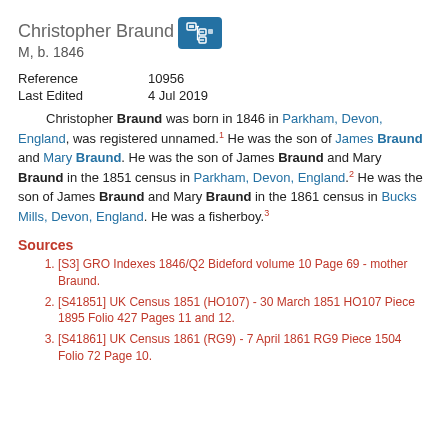Christopher Braund
M, b. 1846
[Figure (logo): Blue icon button with family tree/network symbol]
| Reference | 10956 |
| Last Edited | 4 Jul 2019 |
Christopher Braund was born in 1846 in Parkham, Devon, England, was registered unnamed.1 He was the son of James Braund and Mary Braund. He was the son of James Braund and Mary Braund in the 1851 census in Parkham, Devon, England.2 He was the son of James Braund and Mary Braund in the 1861 census in Bucks Mills, Devon, England. He was a fisherboy.3
Sources
[S3] GRO Indexes 1846/Q2 Bideford volume 10 Page 69 - mother Braund.
[S41851] UK Census 1851 (HO107) - 30 March 1851 HO107 Piece 1895 Folio 427 Pages 11 and 12.
[S41861] UK Census 1861 (RG9) - 7 April 1861 RG9 Piece 1504 Folio 72 Page 10.